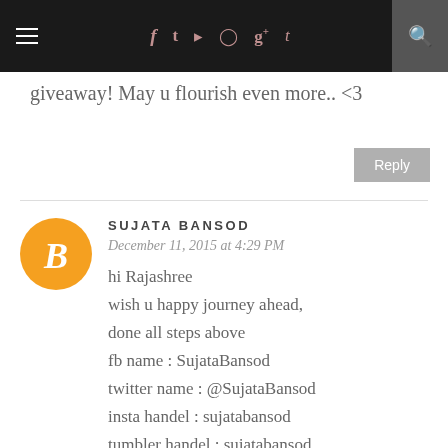≡  f  t  [instagram]  [pinterest]  g+  t  [search]
giveaway! May u flourish even more.. <3
Reply
SUJATA BANSOD
December 11, 2015 at 4:29 PM
hi Rajashree
wish u happy journey ahead,
done all steps above
fb name : SujataBansod
twitter name : @SujataBansod
insta handel : sujatabansod
tumbler handel : sujatabansod